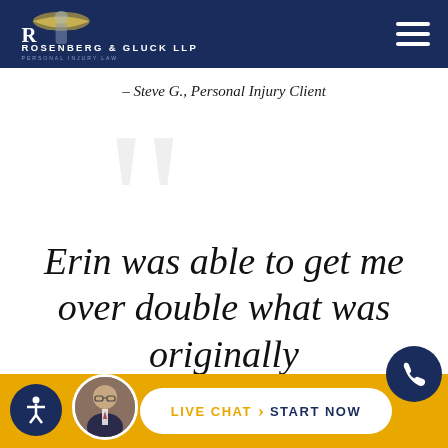[Figure (logo): Rosenberg & Gluck LLP Personal Injury Law logo on dark navy header with hamburger menu]
– Steve G., Personal Injury Client
[Figure (illustration): Large decorative grey quotation marks as background element]
Erin was able to get me over double what was originally
[Figure (infographic): Bottom bar with accessibility icon, attorney photo, Live Chat / Start Now button, and phone icon on gold background]